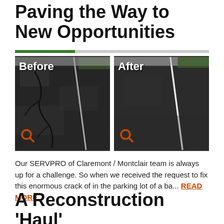Paving the Way to New Opportunities
[Figure (photo): Before and After photos of parking lot crack repair. Left photo labeled 'Before' shows cracked dark asphalt pavement with white parking space lines. Right photo labeled 'After' shows smooth repaired dark asphalt with white parking lines. Both photos have orange magnifying glass search icons in bottom-left corners.]
Our SERVPRO of Claremont / Montclair team is always up for a challenge. So when we received the request to fix this enormous crack of in the parking lot of a ba... READ MORE
A Reconstruction 'Haul' for this Claremont H...